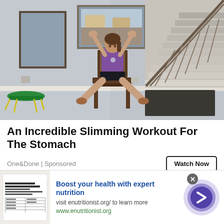[Figure (photo): Woman in purple t-shirt and black shorts sitting on a wooden chair in a living room, arms raised above her head. A small green trampoline is visible on the left, stairs with a movie poster on the right, and a painting above the fireplace mantel in the background.]
An Incredible Slimming Workout For The Stomach
One&Done | Sponsored
Watch Now
[Figure (screenshot): Small thumbnail showing a webpage that says 'Your Browser Is No Longer Supported' with a table below.]
Boost your health with expert nutrition
visit enutritionist.org/ to learn more
www.enutritionist.org